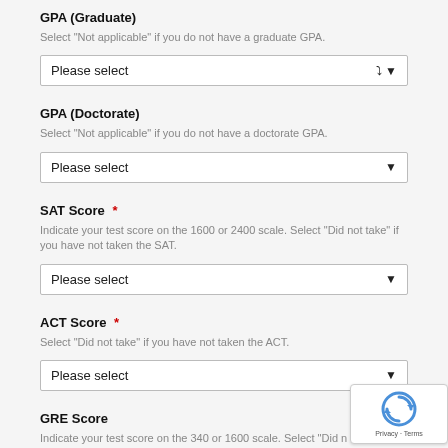GPA (Graduate)
Select "Not applicable" if you do not have a graduate GPA.
Please select
GPA (Doctorate)
Select "Not applicable" if you do not have a doctorate GPA.
Please select
SAT Score *
Indicate your test score on the 1600 or 2400 scale. Select "Did not take" if you have not taken the SAT.
Please select
ACT Score *
Select "Did not take" if you have not taken the ACT.
Please select
GRE Score
Indicate your test score on the 340 or 1600 scale. Select "Did not take" if you have not taken the GRE.